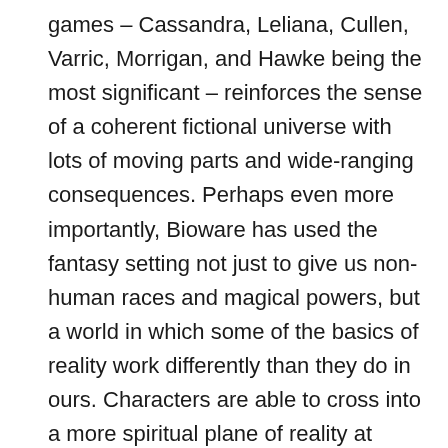games – Cassandra, Leliana, Cullen, Varric, Morrigan, and Hawke being the most significant – reinforces the sense of a coherent fictional universe with lots of moving parts and wide-ranging consequences. Perhaps even more importantly, Bioware has used the fantasy setting not just to give us non-human races and magical powers, but a world in which some of the basics of reality work differently than they do in ours. Characters are able to cross into a more spiritual plane of reality at times (i.e. the Fade), but definitive answers to the big metaphysical questions (such as the nature of a deity, or what happens after death) remain out of their reach. Characters like Cole, Mythal, and